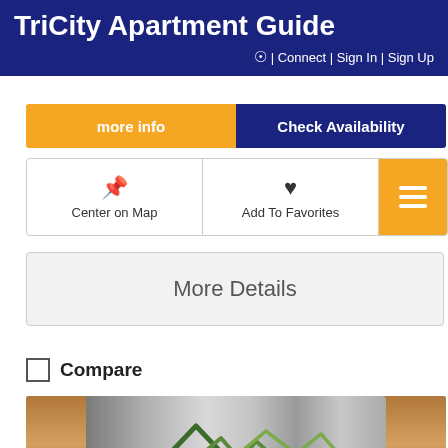TriCity Apartment Guide | Connect | Sign In | Sign Up
more info
Check Availability
Center on Map
Add To Favorites
More Details
Compare
[Figure (photo): Photo of a brushed metal sign with a mountain/wave logo and the word UNIVERSITY partially visible at the bottom]